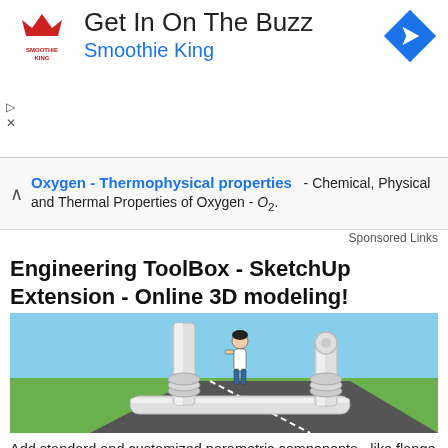[Figure (logo): Smoothie King logo and advertisement banner: 'Get In On The Buzz - Smoothie King' with navigation arrow icon]
Oxygen - Thermophysical properties - Chemical, Physical and Thermal Properties of Oxygen - O2.
Sponsored Links
Engineering ToolBox - SketchUp Extension - Online 3D modeling!
[Figure (illustration): 3D SketchUp model illustration showing piping components with flanges and a human figure for scale, on a green and grey surface with blue sky background]
Add standard and customized parametric components - like flange beams, lumbers, piping, stairs and more - to your Sketchup model with the Engineering ToolBox - SketchUp Extension - enabled for use with the amazing, fun and free